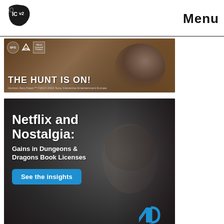ICv2 | Menu
[Figure (photo): Advertisement banner for Horizon Zero Dawn board game by SFG - THE HUNT IS ON! with game imagery and logos]
[Figure (photo): NPD advertisement - Netflix and Nostalgia: Gains in Dungeons & Dragons Book Licenses - See the insights - npd logo]
MORE COMICS
[Figure (photo): Bottom partial image strip with pink/purple gradient tones, partial preview of comics content]